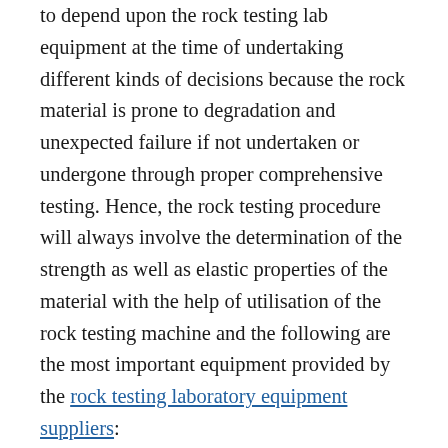to depend upon the rock testing lab equipment at the time of undertaking different kinds of decisions because the rock material is prone to degradation and unexpected failure if not undertaken or undergone through proper comprehensive testing. Hence, the rock testing procedure will always involve the determination of the strength as well as elastic properties of the material with the help of utilisation of the rock testing machine and the following are the most important equipment provided by the rock testing laboratory equipment suppliers:
Sample preparation: This particular type of cutting machine can be perfectly utilised in cutting the rocks of concrete, stone and